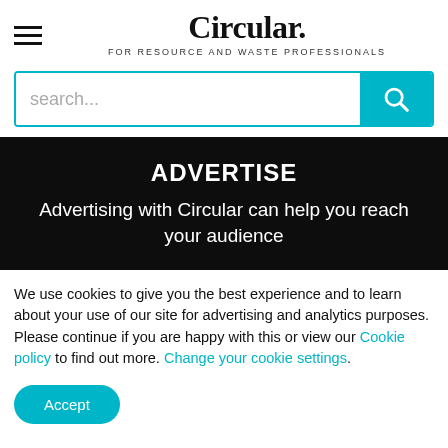Circular. FOR RESOURCE AND WASTE PROFESSIONALS
[Figure (other): Search bar with teal search button and magnifying glass icon]
ADVERTISE
Advertising with Circular can help you reach your audience
We use cookies to give you the best experience and to learn about your use of our site for advertising and analytics purposes. Please continue if you are happy with this or view our Cookie policy to find out more. Change your cookie settings.
Accept